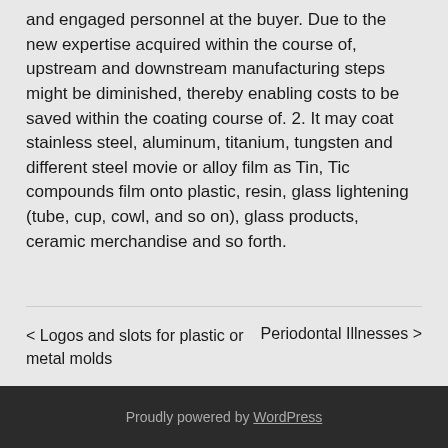and engaged personnel at the buyer. Due to the new expertise acquired within the course of, upstream and downstream manufacturing steps might be diminished, thereby enabling costs to be saved within the coating course of. 2. It may coat stainless steel, aluminum, titanium, tungsten and different steel movie or alloy film as Tin, Tic compounds film onto plastic, resin, glass lightening (tube, cup, cowl, and so on), glass products, ceramic merchandise and so forth.
< Logos and slots for plastic or metal molds
Periodontal Illnesses >
Proudly powered by WordPress